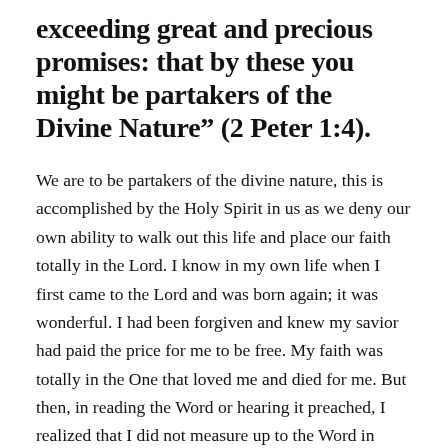exceeding great and precious promises: that by these you might be partakers of the Divine Nature" (2 Peter 1:4).
We are to be partakers of the divine nature, this is accomplished by the Holy Spirit in us as we deny our own ability to walk out this life and place our faith totally in the Lord. I know in my own life when I first came to the Lord and was born again; it was wonderful. I had been forgiven and knew my savior had paid the price for me to be free. My faith was totally in the One that loved me and died for me. But then, in reading the Word or hearing it preached, I realized that I did not measure up to the Word in many areas of my life. I could see what my life should be like as a Christian, but I didn't know how to accomplish it. I found myself failing in my